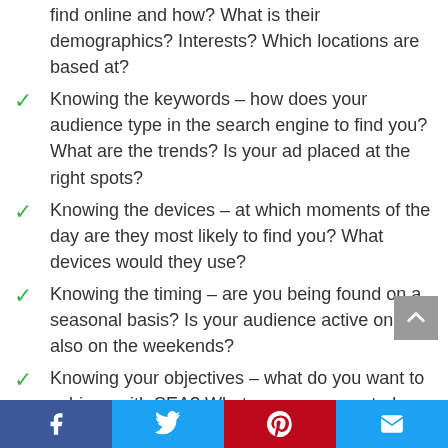find online and how? What is their demographics? Interests? Which locations are based at?
Knowing the keywords – how does your audience type in the search engine to find you? What are the trends? Is your ad placed at the right spots?
Knowing the devices – at which moments of the day are they most likely to find you? What devices would they use?
Knowing the timing – are you being found on a seasonal basis? Is your audience active online also on the weekends?
Knowing your objectives – what do you want to achieve with SEA? What are your expected revenues? What traffic would you like to achieve? What is your budget?
Facebook Twitter Pinterest Email